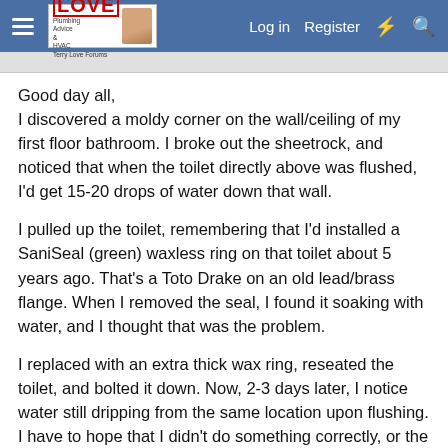Terry Love Plumbing Forums — Log in | Register
Good day all,
I discovered a moldy corner on the wall/ceiling of my first floor bathroom. I broke out the sheetrock, and noticed that when the toilet directly above was flushed, I'd get 15-20 drops of water down that wall.
I pulled up the toilet, remembering that I'd installed a SaniSeal (green) waxless ring on that toilet about 5 years ago. That's a Toto Drake on an old lead/brass flange. When I removed the seal, I found it soaking with water, and I thought that was the problem.
I replaced with an extra thick wax ring, reseated the toilet, and bolted it down. Now, 2-3 days later, I notice water still dripping from the same location upon flushing. I have to hope that I didn't do something correctly, or the wax ring was too thick and didn't compress properly (maybe it was too cold?). Because the other alternative is that maybe there's something wrong with the lead